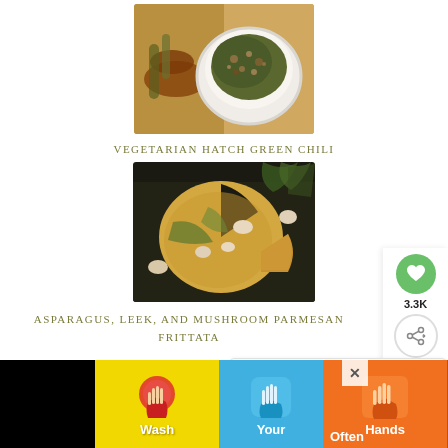[Figure (photo): Top-down photo of a white bowl filled with dark green chili (Vegetarian Hatch Green Chili), with roasted vegetables beside it on a plate]
VEGETARIAN HATCH GREEN CHILI
[Figure (photo): Asparagus, leek, and mushroom parmesan frittata sliced into wedges on a dark background with mushrooms scattered around]
ASPARAGUS, LEEK, AND MUSHROOM PARMESAN FRITTATA
[Figure (infographic): Ad banner: Wash Your Hands Often — colorful illustrated hand-washing public health advertisement with hand icons in yellow, blue, orange, and red/brown panels]
[Figure (other): What's Next panel: thumbnail image with label 'WHAT'S NEXT →' and text 'Preparing for an...']
[Figure (other): Social sidebar: green heart button with 3.3K count, share button]